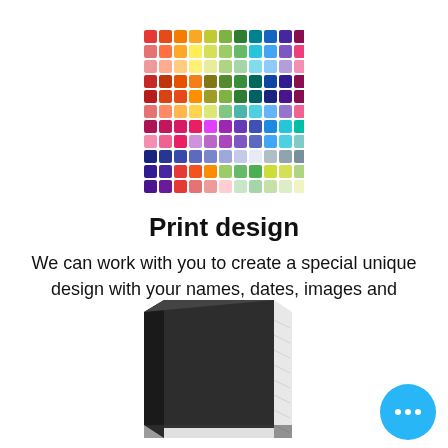[Figure (illustration): A colorful grid of small squares in rainbow colors arranged in an 11x11 grid pattern]
Print design
We can work with you to create a special unique design with your names, dates, images and more.
[Figure (illustration): A dark hardcover book illustration, depicted in a 3D perspective with a white spine visible]